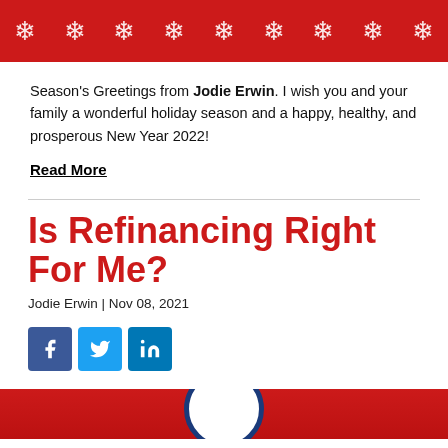[Figure (illustration): Red banner with white snowflakes decorative header]
Season's Greetings from Jodie Erwin. I wish you and your family a wonderful holiday season and a happy, healthy, and prosperous New Year 2022!
Read More
Is Refinancing Right For Me?
Jodie Erwin | Nov 08, 2021
[Figure (illustration): Social media icons: Facebook, Twitter, LinkedIn]
[Figure (photo): Partial bottom image with red background and circular graphic element]